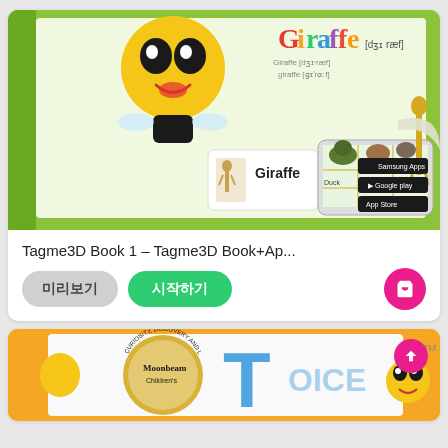[Figure (illustration): Tagme3D Book 1 product image showing a green book cover with a cartoon bee character, a 'Giraffe' flashcard, 3D animals (duck, cat, dog, giraffe) popping out of a tablet, Korean text labels, and app store badges (Samsung Apps, Google Play, App Store).]
Tagme3D Book 1 – Tagme3D Book+Ap...
[Figure (illustration): Button row with '미리보기' (preview) gray button, '시작하기' (start) green button, and a pink cart icon button.]
[Figure (illustration): Second product card with yellow/orange background showing Moonbeam Children's logo (gold circular badge with 'Curiosity, Discovery and Learning Through...'), a large blue letter T, a cartoon bee, and partial 'OICE' text. A pink scroll-to-top button is in the top right.]